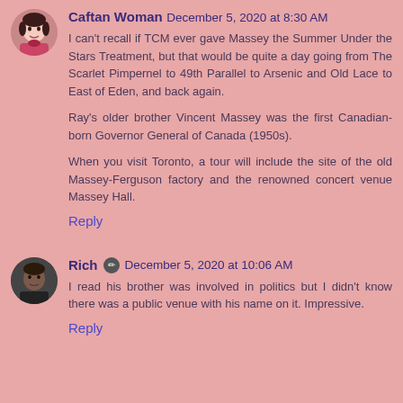Caftan Woman  December 5, 2020 at 8:30 AM
I can't recall if TCM ever gave Massey the Summer Under the Stars Treatment, but that would be quite a day going from The Scarlet Pimpernel to 49th Parallel to Arsenic and Old Lace to East of Eden, and back again.

Ray's older brother Vincent Massey was the first Canadian-born Governor General of Canada (1950s).

When you visit Toronto, a tour will include the site of the old Massey-Ferguson factory and the renowned concert venue Massey Hall.

Reply
Rich  December 5, 2020 at 10:06 AM
I read his brother was involved in politics but I didn't know there was a public venue with his name on it. Impressive.

Reply